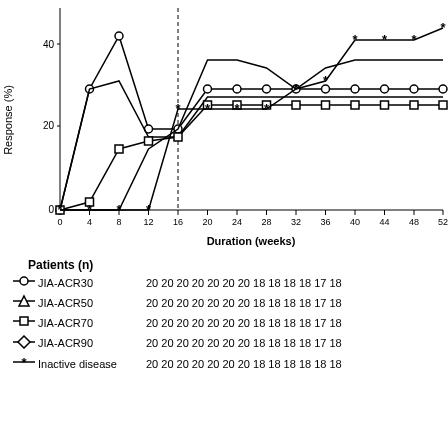[Figure (line-chart): ]
| Series | 0 | 4 | 8 | 12 | 16 | 20 | 24 | 28 | 32 | 36 | 40 | 44 | 48 | 52 |
| --- | --- | --- | --- | --- | --- | --- | --- | --- | --- | --- | --- | --- | --- | --- |
| JIA-ACR30 | 20 | 20 | 20 | 20 | 20 | 20 | 20 | 18 | 18 | 18 | 18 | 17 | 18 | — |
| JIA-ACR50 | 20 | 20 | 20 | 20 | 20 | 20 | 20 | 18 | 18 | 18 | 18 | 17 | 18 | — |
| JIA-ACR70 | 20 | 20 | 20 | 20 | 20 | 20 | 20 | 18 | 18 | 18 | 18 | 17 | 18 | — |
| JIA-ACR90 | 20 | 20 | 20 | 20 | 20 | 20 | 20 | 18 | 18 | 18 | 18 | 17 | 18 | — |
| Inactive disease | 20 | 20 | 20 | 20 | 20 | 20 | 20 | 18 | 18 | 18 | 18 | 18 | 18 | — |